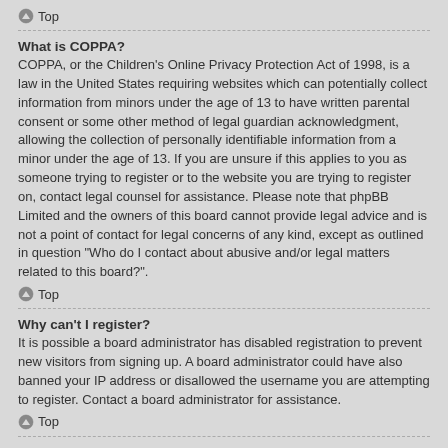Top
What is COPPA?
COPPA, or the Children's Online Privacy Protection Act of 1998, is a law in the United States requiring websites which can potentially collect information from minors under the age of 13 to have written parental consent or some other method of legal guardian acknowledgment, allowing the collection of personally identifiable information from a minor under the age of 13. If you are unsure if this applies to you as someone trying to register or to the website you are trying to register on, contact legal counsel for assistance. Please note that phpBB Limited and the owners of this board cannot provide legal advice and is not a point of contact for legal concerns of any kind, except as outlined in question "Who do I contact about abusive and/or legal matters related to this board?".
Top
Why can't I register?
It is possible a board administrator has disabled registration to prevent new visitors from signing up. A board administrator could have also banned your IP address or disallowed the username you are attempting to register. Contact a board administrator for assistance.
Top
I registered but cannot login!
First, check your username and password. If they are correct, then one of two things may have happened. If COPPA support is enabled and you specified being under 13 years old during registration, you will have to follow the